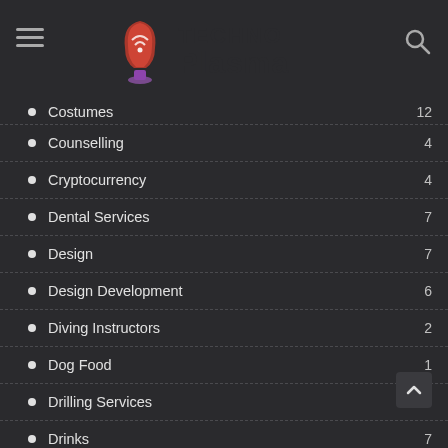Techno Plasma
Costumes 12
Counselling 4
Cryptocurrency 4
Dental Services 7
Design 7
Design Development 6
Diving Instructors 2
Dog Food 1
Drilling Services 10
Drinks 7
Driving 1